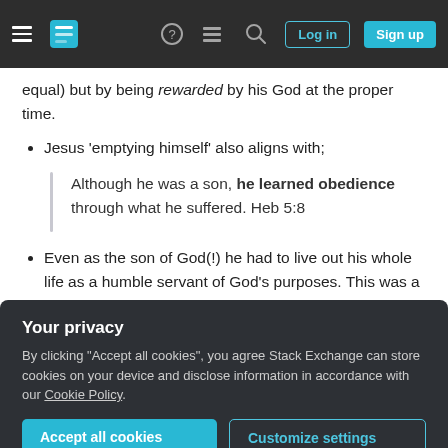Stack Exchange navigation bar with hamburger menu, logo, help, chat, search icons, Log in and Sign up buttons
equal) but by being rewarded by his God at the proper time.
Jesus 'emptying himself' also aligns with;
Although he was a son, he learned obedience through what he suffered. Heb 5:8
Even as the son of God(!) he had to live out his whole life as a humble servant of God's purposes. This was a process - a continual emptying until his
Your privacy
By clicking "Accept all cookies", you agree Stack Exchange can store cookies on your device and disclose information in accordance with our Cookie Policy.
Accept all cookies   Customize settings
The answer of Jesus, as told by CBicked...